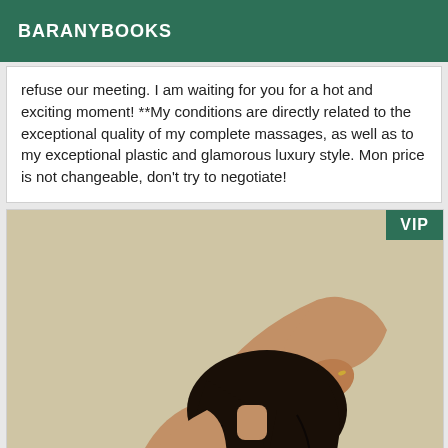BARANYBOOKS
refuse our meeting. I am waiting for you for a hot and exciting moment! **My conditions are directly related to the exceptional quality of my complete massages, as well as to my exceptional plastic and glamorous luxury style. ⁠Mon price is not changeable, don't try to negotiate!
[Figure (photo): A person with dark hair, arm raised behind head, photographed from behind/side against a light beige wall. A green VIP badge appears in the top right corner.]